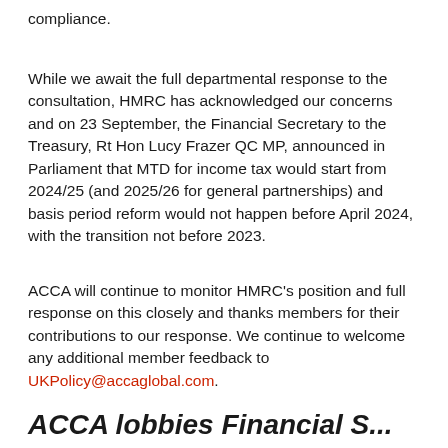compliance.
While we await the full departmental response to the consultation, HMRC has acknowledged our concerns and on 23 September, the Financial Secretary to the Treasury, Rt Hon Lucy Frazer QC MP, announced in Parliament that MTD for income tax would start from 2024/25 (and 2025/26 for general partnerships) and basis period reform would not happen before April 2024, with the transition not before 2023.
ACCA will continue to monitor HMRC's position and full response on this closely and thanks members for their contributions to our response. We continue to welcome any additional member feedback to UKPolicy@accaglobal.com.
ACCA lobbies Financial S...